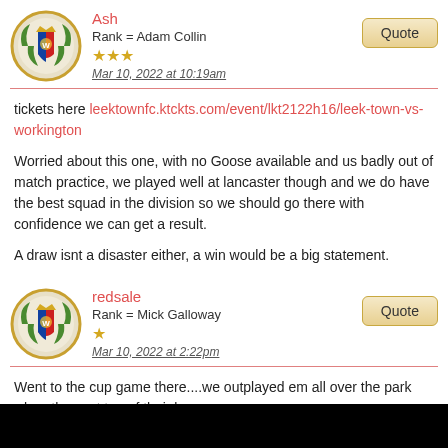Ash
Rank = Adam Collin
★★★
Mar 10, 2022 at 10:19am
tickets here leektownfc.ktckts.com/event/lkt2122h16/leek-town-vs-workington

Worried about this one, with no Goose available and us badly out of match practice, we played well at lancaster though and we do have the best squad in the division so we should go there with confidence we can get a result.

A draw isnt a disaster either, a win would be a big statement.
redsale
Rank = Mick Galloway
★
Mar 10, 2022 at 2:22pm
Went to the cup game there....we outplayed em all over the park when they sat top of their league
Their squad ain't too dissimilar to that last visit, I think we will match up well